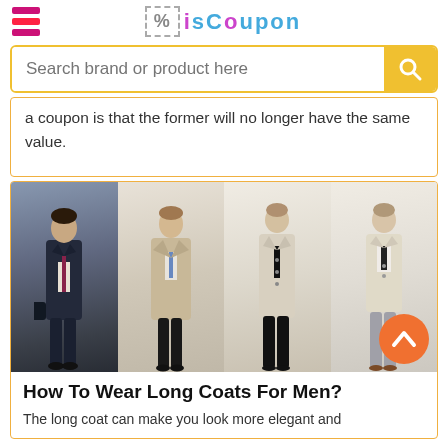isCoupon
a coupon is that the former will no longer have the same value.
[Figure (photo): Four men wearing long coats: one in a dark navy coat with a bag, two in khaki/beige trench coats, and one in a light beige trench coat with grey trousers.]
How To Wear Long Coats For Men?
The long coat can make you look more elegant and